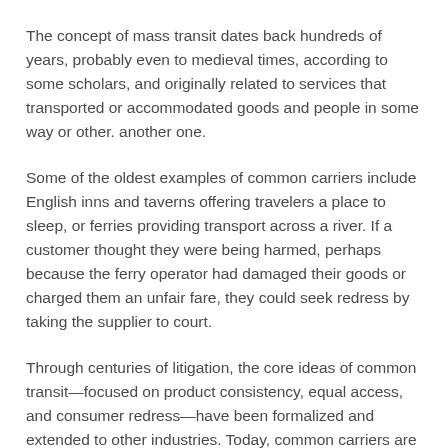The concept of mass transit dates back hundreds of years, probably even to medieval times, according to some scholars, and originally related to services that transported or accommodated goods and people in some way or other. another one.
Some of the oldest examples of common carriers include English inns and taverns offering travelers a place to sleep, or ferries providing transport across a river. If a customer thought they were being harmed, perhaps because the ferry operator had damaged their goods or charged them an unfair fare, they could seek redress by taking the supplier to court.
Through centuries of litigation, the core ideas of common transit—focused on product consistency, equal access, and consumer redress—have been formalized and extended to other industries. Today, common carriers are faced with the same obligations, regardless of their activity. They should generally be